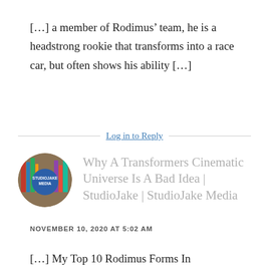[…] a member of Rodimus' team, he is a headstrong rookie that transforms into a race car, but often shows his ability […]
Log in to Reply
[Figure (logo): Circular avatar logo for StudioJake Media showing bookshelves and a blue circle with text STUDIOJAKE MEDIA]
Why A Transformers Cinematic Universe Is A Bad Idea | StudioJake | StudioJake Media
NOVEMBER 10, 2020 AT 5:02 AM
[…] My Top 10 Rodimus Forms In